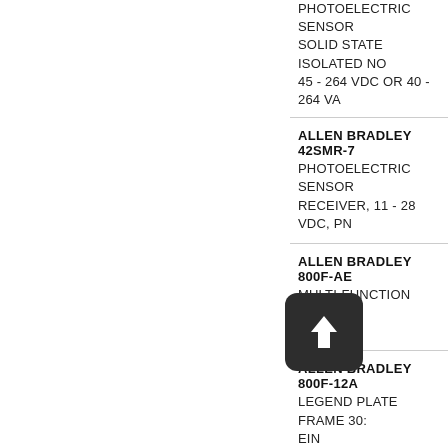PHOTOELECTRIC SENSOR... SOLID STATE ISOLATED NO... 45 - 264 VDC OR 40 - 264 VA...
ALLEN BRADLEY 42SMR-7...
PHOTOELECTRIC SENSOR... RECEIVER, 11 - 28 VDC, PN...
ALLEN BRADLEY 800F-AE...
MULTI-FUNCTION EXTEND... DESTRA
ALLEN BRADLEY 800F-12A...
LEGEND PLATE FRAME 30:... EIN
ALLEN BRADLEY 800F-18W...
LEGEND PLATE, 30X50MM... LARGE FONT SIZE
ALLEN BRADLEY 844D-A5...
ENCODERS, BLIND AND TH...
ALLEN BRADLEY 845H-SJ...
ENCODERS, (INCREMEN...